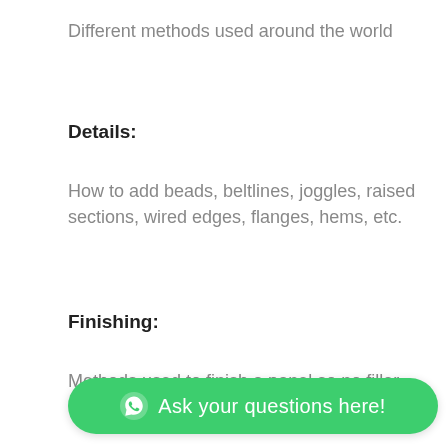Different methods used around the world
Details:
How to add beads, beltlines, joggles, raised sections, wired edges, flanges, hems, etc.
Finishing:
Methods used to finish a panel so no filler is
[Figure (other): WhatsApp chat button with green background reading 'Ask your questions here!']